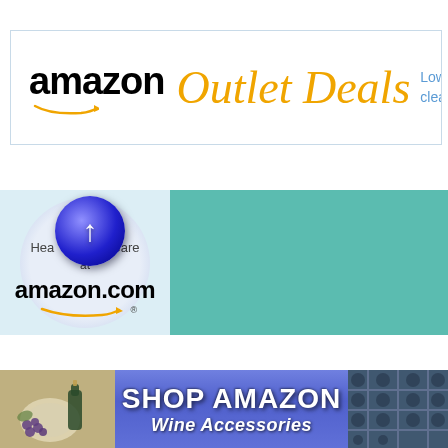[Figure (screenshot): Amazon Outlet Deals banner ad with Amazon logo in black, 'Outlet Deals' in orange italic, and 'Low p... cleara...' text in blue on right]
[Figure (screenshot): Amazon.com Health & Personal Care banner with blue circular arrow button, circular logo area, and teal right panel]
[Figure (screenshot): Shop Amazon Wine Accessories banner with wine/dishes photo on left, purple-blue center with bold white text, and wine rack photo on right]